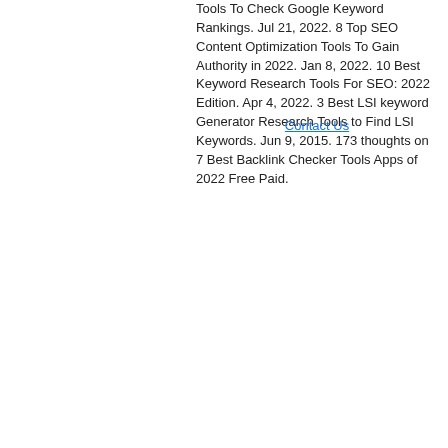Tools To Check Google Keyword Rankings. Jul 21, 2022. 8 Top SEO Content Optimization Tools To Gain Authority in 2022. Jan 8, 2022. 10 Best Keyword Research Tools For SEO: 2022 Edition. Apr 4, 2022. 3 Best LSI keyword Generator Research Tools to Find LSI Keywords. Jun 9, 2015. 173 thoughts on 7 Best Backlink Checker Tools Apps of 2022 Free Paid.
Contact Us